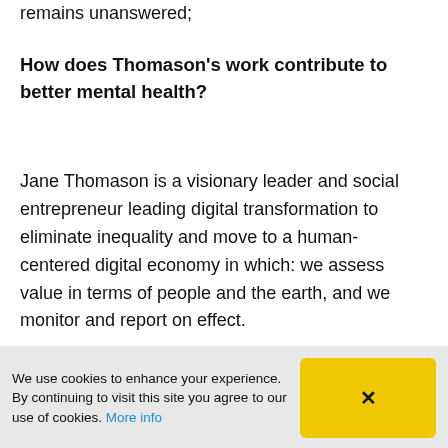remains unanswered;
How does Thomason’s work contribute to better mental health?
Jane Thomason is a visionary leader and social entrepreneur leading digital transformation to eliminate inequality and move to a human-centered digital economy in which: we assess value in terms of people and the earth, and we monitor and report on effect.
Jane also intends to utilize a new data model
We use cookies to enhance your experience. By continuing to visit this site you agree to our use of cookies. More info